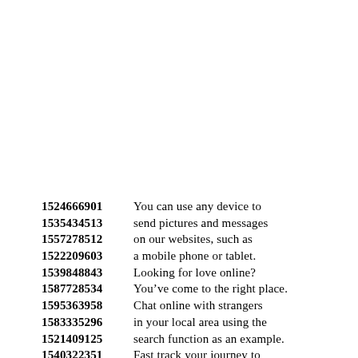1524666901 You can use any device to
1535434513 send pictures and messages
1557278512 on our websites, such as
1522209603 a mobile phone or tablet.
1539848843 Looking for love online?
1587728534 You’ve come to the right place.
1595363958 Chat online with strangers
1583335296 in your local area using the
1521409125 search function as an example.
1540322351 Fast track your journey to
1517368669 love and find that person
1570394201 who is going to be in